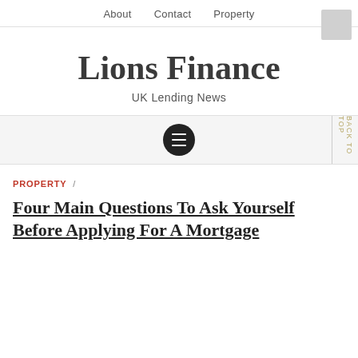About   Contact   Property
Lions Finance
UK Lending News
BACK TO TOP
PROPERTY /
Four Main Questions To Ask Yourself Before Applying For A Mortgage